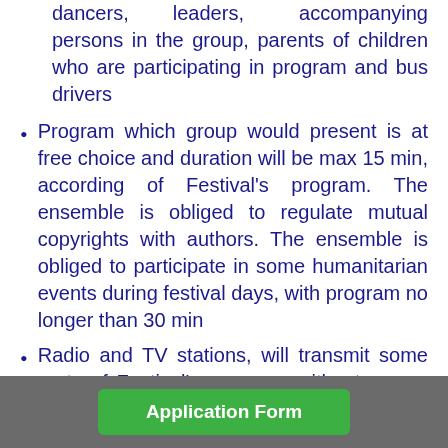dancers, leaders, accompanying persons in the group, parents of children who are participating in program and bus drivers
Program which group would present is at free choice and duration will be max 15 min, according of Festival's program. The ensemble is obliged to regulate mutual copyrights with authors. The ensemble is obliged to participate in some humanitarian events during festival days, with program no longer than 30 min
Radio and TV stations, will transmit some parts of Festival's program, without reimbursement to participan...
All groups have to organize at their...